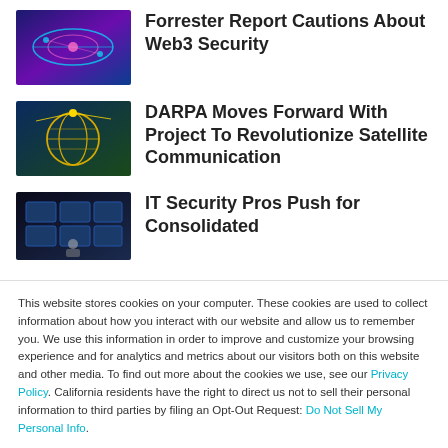[Figure (photo): Thumbnail image with colorful network/web3 security concept visualization in blue and purple tones]
Forrester Report Cautions About Web3 Security
[Figure (photo): Thumbnail image showing satellite communication network with globe and yellow lines]
DARPA Moves Forward With Project To Revolutionize Satellite Communication
[Figure (photo): Thumbnail image of IT security control room with person at screens]
IT Security Pros Push for Consolidated
This website stores cookies on your computer. These cookies are used to collect information about how you interact with our website and allow us to remember you. We use this information in order to improve and customize your browsing experience and for analytics and metrics about our visitors both on this website and other media. To find out more about the cookies we use, see our Privacy Policy. California residents have the right to direct us not to sell their personal information to third parties by filing an Opt-Out Request: Do Not Sell My Personal Info.
Accept